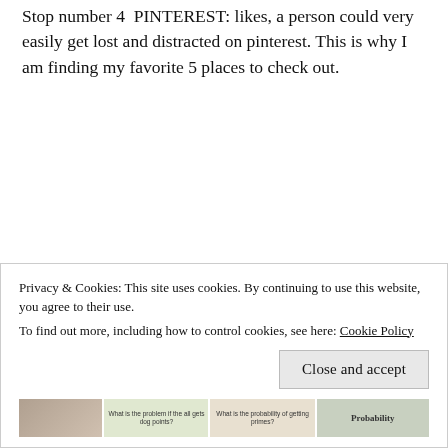Stop number 4  PINTEREST: likes, a person could very easily get lost and distracted on pinterest. This is why I am finding my favorite 5 places to check out.
Privacy & Cookies: This site uses cookies. By continuing to use this website, you agree to their use. To find out more, including how to control cookies, see here: Cookie Policy